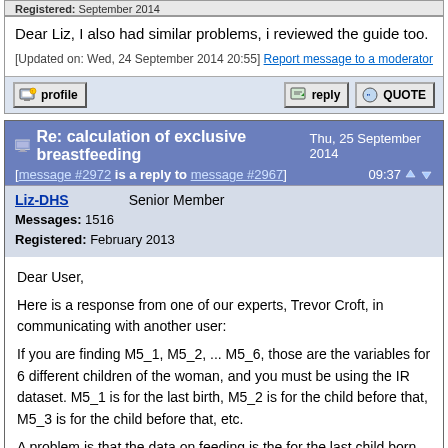Registered: September 2014
Dear Liz, I also had similar problems, i reviewed the guide too.
[Updated on: Wed, 24 September 2014 20:55]
Report message to a moderator
Re: calculation of exclusive breastfeeding   Thu, 25 September 2014
[message #2972 is a reply to message #2967]   09:37
Liz-DHS   Senior Member
Messages: 1516
Registered: February 2013
Dear User,
Here is a response from one of our experts, Trevor Croft, in communicating with another user:
If you are finding M5_1, M5_2, ... M5_6, those are the variables for 6 different children of the woman, and you must be using the IR dataset. M5_1 is for the last birth, M5_2 is for the child before that, M5_3 is for the child before that, etc.
A problem is that the data on feeding is the for the last child born in the last two years LIVING WITH THE MOTHER. So it is not sufficient to just select women who have children under 6 you need